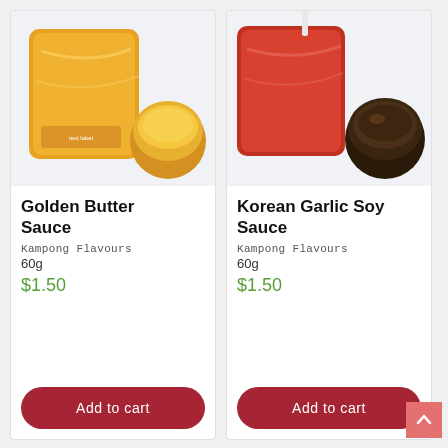[Figure (photo): Golden Butter Sauce product photo: an orange/yellow sauce packet and a small round bowl of yellow sauce on a white background]
Golden Butter Sauce
Kampong Flavours
60g
$1.50
[Figure (photo): Korean Garlic Soy Sauce product photo: a red sauce packet and a small round bowl of dark brown soy sauce on a white background]
Korean Garlic Soy Sauce
Kampong Flavours
60g
$1.50